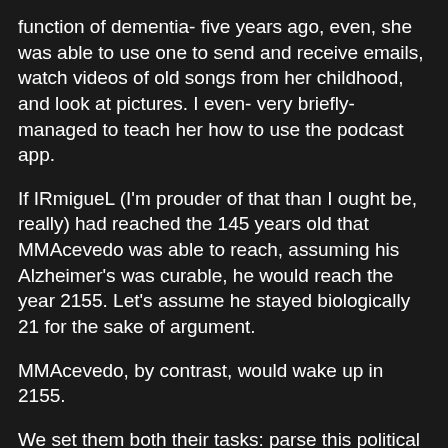function of dementia- five years ago, even, she was able to use one to send and receive emails, watch videos of old songs from her childhood, and look at pictures. I even- very briefly- managed to teach her how to use the podcast app.
If IRmigueL (I'm prouder of that than I ought be, really) had reached the 145 years old that MMAcevedo was able to reach, assuming his Alzheimer's was curable, he would reach the year 2155. Let's assume he stayed biologically 21 for the sake of argument.
MMAcevedo, by contrast, would wake up in 2155.
We set them both their tasks: parse this political speech and assess trustworthiness of the speaker (the task isn't important, their reaction to it is).
IRmigueL says the equivalent of "yeah, I actually heard this live, and I know the politician's record. They went on to blow up the moon, so their trustworthiness is pretty